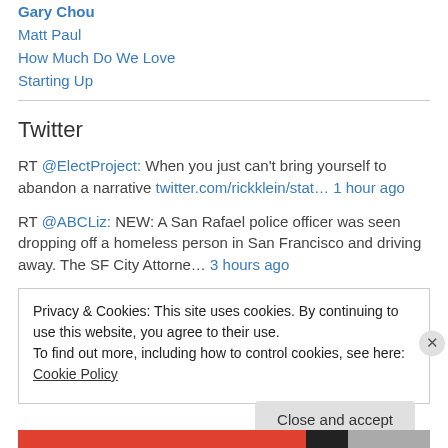Gary Chou
Matt Paul
How Much Do We Love
Starting Up
Twitter
RT @ElectProject: When you just can't bring yourself to abandon a narrative twitter.com/rickklein/stat… 1 hour ago
RT @ABCLiz: NEW: A San Rafael police officer was seen dropping off a homeless person in San Francisco and driving away. The SF City Attorne… 3 hours ago
Privacy & Cookies: This site uses cookies. By continuing to use this website, you agree to their use. To find out more, including how to control cookies, see here: Cookie Policy